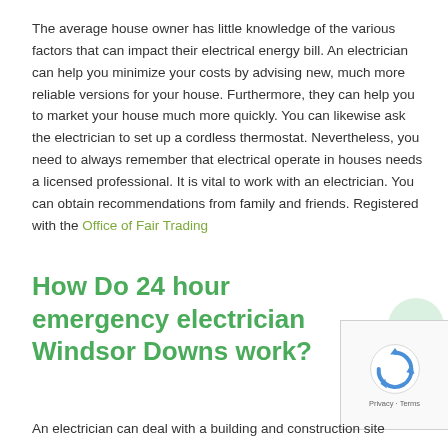The average house owner has little knowledge of the various factors that can impact their electrical energy bill. An electrician can help you minimize your costs by advising new, much more reliable versions for your house. Furthermore, they can help you to market your house much more quickly. You can likewise ask the electrician to set up a cordless thermostat. Nevertheless, you need to always remember that electrical operate in houses needs a licensed professional. It is vital to work with an electrician. You can obtain recommendations from family and friends. Registered with the Office of Fair Trading
How Do 24 hour emergency electrician Windsor Downs work?
An electrician can deal with a building and construction site